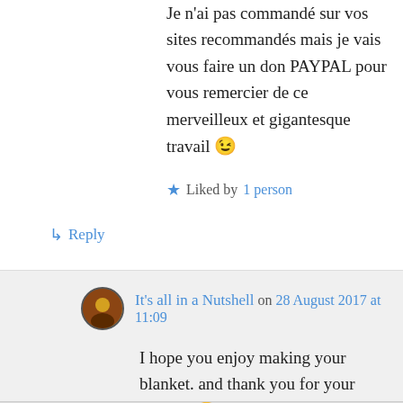Je n'ai pas commandé sur vos sites recommandés mais je vais vous faire un don PAYPAL pour vous remercier de ce merveilleux et gigantesque travail 😉
★ Liked by 1 person
↳ Reply
It's all in a Nutshell on 28 August 2017 at 11:09
I hope you enjoy making your blanket. and thank you for your support 🙂
★ Like
↳ Reply